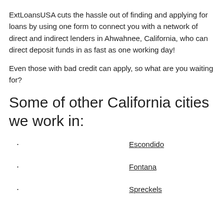ExtLoansUSA cuts the hassle out of finding and applying for loans by using one form to connect you with a network of direct and indirect lenders in Ahwahnee, California, who can direct deposit funds in as fast as one working day!
Even those with bad credit can apply, so what are you waiting for?
Some of other California cities we work in:
Escondido
Fontana
Spreckels